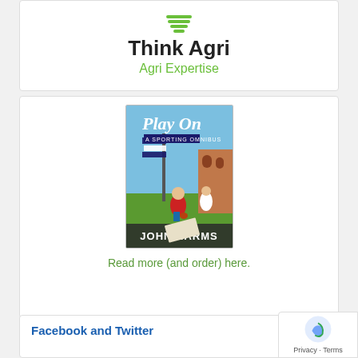[Figure (logo): Think Agri logo with green layered icon, bold 'Think Agri' text, and green 'Agri Expertise' subtitle]
[Figure (photo): Book cover of 'Play On: A Sporting Omnibus' by John Harms, showing a boy running with a football on a grass oval, with goalposts and buildings in the background]
Read more (and order) here.
Facebook and Twitter